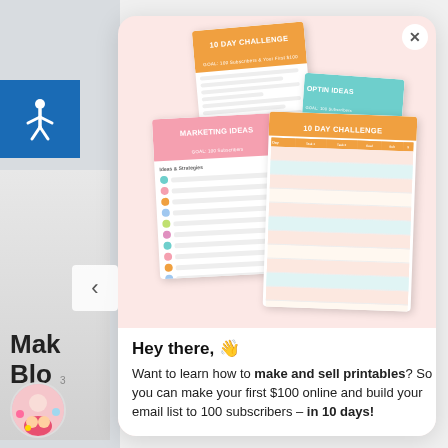[Figure (screenshot): Screenshot of a popup modal with a pink background showing four overlapping printable worksheets: two '10 Day Challenge' cards (orange header), one 'Optin Ideas' card (teal header), and one 'Marketing Ideas' card (pink header). Below the printables is a white text area.]
Hey there, 👋
Want to learn how to make and sell printables? So you can make your first $100 online and build your email list to 100 subscribers – in 10 days!